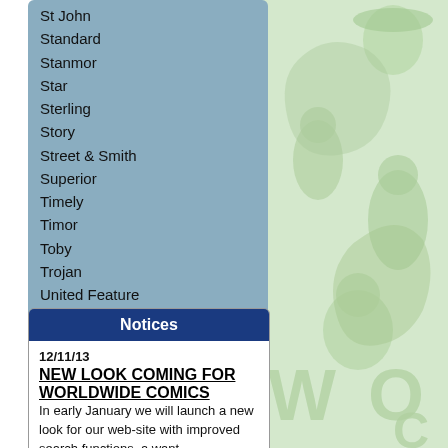St John
Standard
Stanmor
Star
Sterling
Story
Street & Smith
Superior
Timely
Timor
Toby
Trojan
United Feature
Western Publishing
Wise
Youthful Mag
Ziff-Davis
True Titles
True Bride-To-Be Romances
Notices
12/11/13
NEW LOOK COMING FOR WORLDWIDE COMICS
In early January we will launch a new look for our web-site with improved search functions, a want
[Figure (illustration): Green-tinted comic book style illustration featuring various superhero and comic characters including a woman, costumed heroes, a clown figure, and large text 'WO' and 'C' visible at the bottom right. Background occupies the right half of the page.]